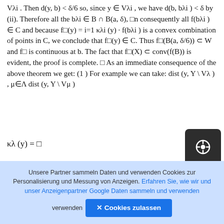Vλi . Then d(y, b) < δ/6 so, since y ∈ Vλi , we have d(b, bλi ) < δ by (ii). Therefore all the bλi ∈ B ∩ B(a, δ), □n consequently all f(bλi ) ∈ C and because f□(y) = i=1 κλi (y) · f(bλi ) is a convex combination of points in C, we conclude that f□(y) ∈ C. Thus f□(B(a, δ/6)) ⊂ W and f□ is continuous at b. The fact that f□(X) ⊂ conv(f(B)) is evident, the proof is complete. □ As an immediate consequence of the above theorem we get: (1 ) For example we can take: dist (y, Y \ Vλ ) , μ∈Λ dist (y, Y \ Vμ )
Unsere Partner sammeln Daten und verwenden Cookies zur Personalisierung und Messung von Anzeigen. Erfahren Sie, wie wir und unser Anzeigenpartner Google Daten sammeln und verwenden ✕ Cookies zulassen